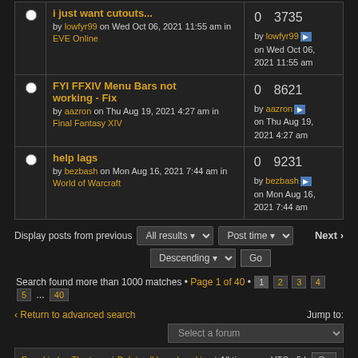i just want cutouts... by lowfyr99 on Wed Oct 06, 2021 11:55 am in EVE Online | 0 replies | 3735 views | by lowfyr99 on Wed Oct 06, 2021 11:55 am
FYI FFXIV Menu Bars not working - Fix by aazron on Thu Aug 19, 2021 4:27 am in Final Fantasy XIV | 0 replies | 8621 views | by aazron on Thu Aug 19, 2021 4:27 am
help lags by bezbash on Mon Aug 16, 2021 7:44 am in World of Warcraft | 0 replies | 9231 views | by bezbash on Mon Aug 16, 2021 7:44 am
Display posts from previous: All results | Post time | Descending | Go | Next
Search found more than 1000 matches • Page 1 of 40 • 1 2 3 4 5 ... 40
< Return to advanced search
Jump to: Select a forum
Board index | The team | Delete all board cookies | All times are UTC - 5 h | Go